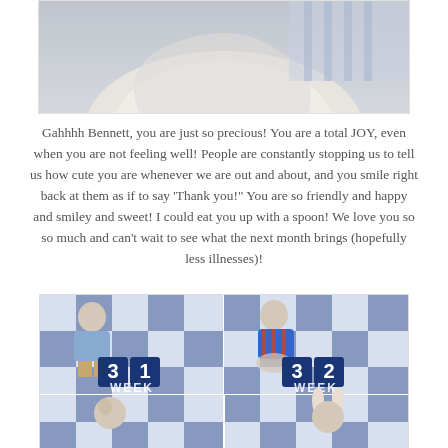[Figure (photo): Partial photo of a baby or person, cropped at top, showing light-colored clothing against a grey background]
Gahhhh Bennett, you are just so precious! You are a total JOY, even when you are not feeling well! People are constantly stopping us to tell us how cute you are whenever we are out and about, and you smile right back at them as if to say 'Thank you!' You are so friendly and happy and smiley and sweet! I could eat you up with a spoon! We love you so so much and can't wait to see what the next month brings (hopefully less illnesses)!
[Figure (photo): 2x2 grid of baby photos with week number blocks showing weeks 31, 32, and partially visible weeks below. Baby sitting with blue and white checkered blanket in background.]